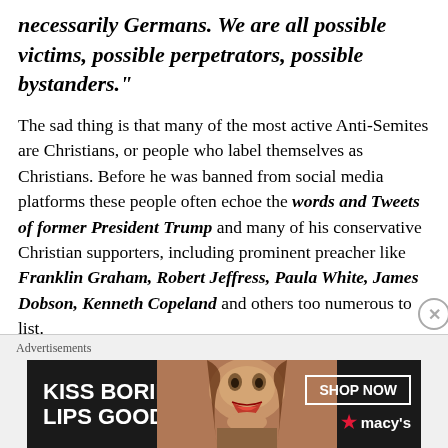necessarily Germans. We are all possible victims, possible perpetrators, possible bystanders."
The sad thing is that many of the most active Anti-Semites are Christians, or people who label themselves as Christians. Before he was banned from social media platforms these people often echoe the words and Tweets of former President Trump and many of his conservative Christian supporters, including prominent preacher like Franklin Graham, Robert Jeffress, Paula White, James Dobson, Kenneth Copeland and others too numerous to list.
Advertisements
[Figure (other): Macy's advertisement banner: 'KISS BORING LIPS GOODBYE' with a woman's face and red lips, SHOP NOW button and Macy's logo with star]